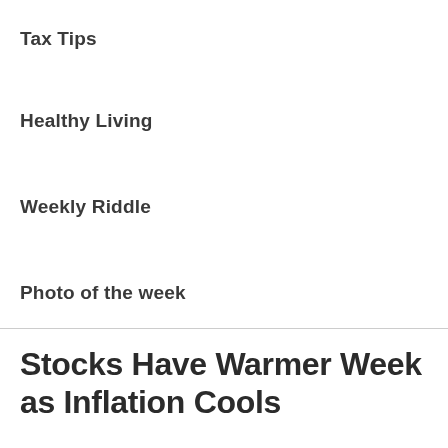Tax Tips
Healthy Living
Weekly Riddle
Photo of the week
Stocks Have Warmer Week as Inflation Cools